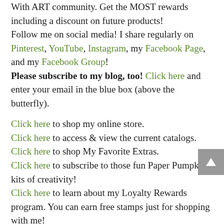With ART community. Get the MOST rewards including a discount on future products!
Follow me on social media! I share regularly on Pinterest, YouTube, Instagram, my Facebook Page, and my Facebook Group!
Please subscribe to my blog, too! Click here and enter your email in the blue box (above the butterfly).
Click here to shop my online store.
Click here to access & view the current catalogs.
Click here to shop My Favorite Extras.
Click here to subscribe to those fun Paper Pumpkin kits of creativity!
Click here to learn about my Loyalty Rewards program. You can earn free stamps just for shopping with me!
Click here to learn more about joining my Stampers With ART community. Get the MOST rewards including a discount on future products!
Follow me on social media! I share regularly on Pinterest, YouTube, Instagram, my Facebook